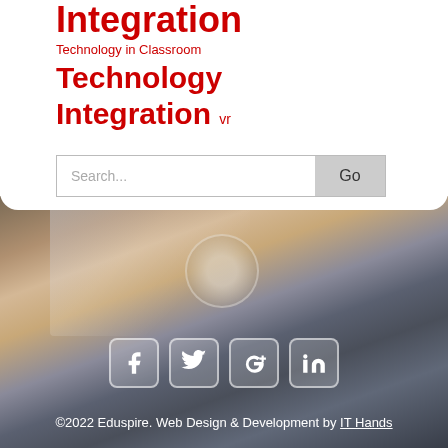Integration
Technology in Classroom
Technology Integration vr
[Figure (screenshot): Search bar with text 'Search...' and a 'Go' button]
[Figure (photo): Blurred overhead photo of person using laptop on wooden desk, with social media icons (Facebook, Twitter, Google+, LinkedIn) overlaid]
©2022 Eduspire. Web Design & Development by IT Hands